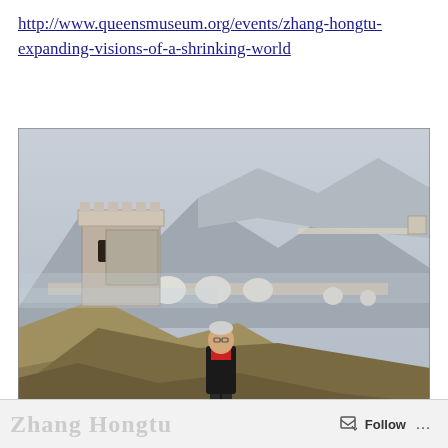http://www.queensmuseum.org/events/zhang-hongtu-expanding-visions-of-a-shrinking-world
[Figure (photo): A man in a black jacket and red shirt stands in front of a large panoramic photograph of the Great Wall of China, showing a watchtower and the wall winding through mountainous terrain.]
* * *
Follow ...